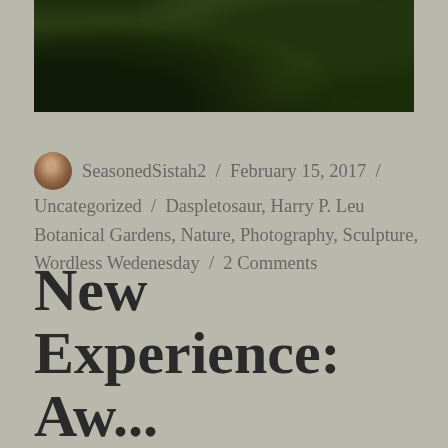[Figure (photo): Photograph of dense green foliage and plants, likely taken at a botanical garden]
SeasonedSistah2 / February 15, 2017 / Uncategorized / Daspletosaur, Harry P. Leu Botanical Gardens, Nature, Photography, Sculpture, Wordless Wedenesday / 2 Comments
New Experience: